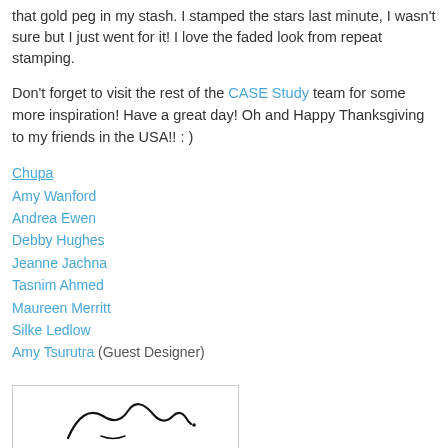that gold peg in my stash. I stamped the stars last minute, I wasn't sure but I just went for it! I love the faded look from repeat stamping.
Don't forget to visit the rest of the CASE Study team for some more inspiration! Have a great day! Oh and Happy Thanksgiving to my friends in the USA!! : )
Chupa
Amy Wanford
Andrea Ewen
Debby Hughes
Jeanne Jachna
Tasnim Ahmed
Maureen Merritt
Silke Ledlow
Amy Tsurutra (Guest Designer)
[Figure (illustration): Handwritten signature in cursive script, partially visible inside a bordered box]